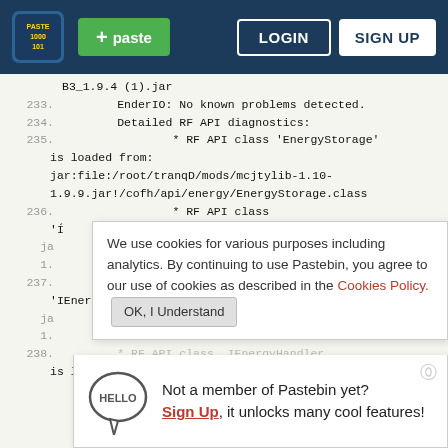[Figure (screenshot): Pastebin website header with logo, green paste button, LOGIN and SIGN UP buttons on dark blue background]
B3_1.9.4 (1).jar
233.        EnderIO: No known problems detected.
234.        Detailed RF API diagnostics:
235.                * RF API class 'EnergyStorage' is loaded from:
jar:file:/root/tranqD/mods/mcjtylib-1.10-1.9.9.jar!/cofh/api/energy/EnergyStorage.class
236.                * RF API class
'I
ja
1.
237.
'IEnergyContainerItem' is loaded from:
ja
1.
238.
is loaded from:
We use cookies for various purposes including analytics. By continuing to use Pastebin, you agree to our use of cookies as described in the Cookies Policy.  OK, I Understand
Not a member of Pastebin yet?  Sign Up, it unlocks many cool features!